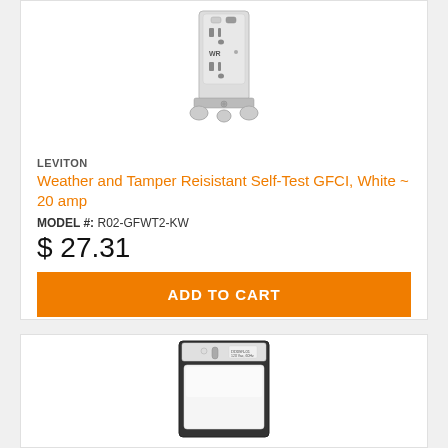[Figure (photo): White GFCI outlet with WR label and mounting tabs]
LEVITON
Weather and Tamper Reisistant Self-Test GFCI, White ~ 20 amp
MODEL #: R02-GFWT2-KW
$ 27.31
ADD TO CART
[Figure (photo): White rectangular light switch with black trim]